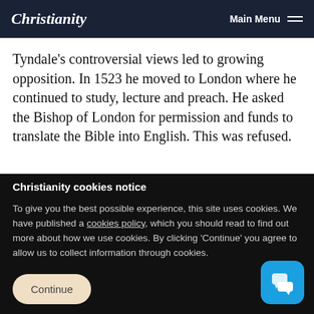Christianity   Main Menu
Tyndale's controversial views led to growing opposition. In 1523 he moved to London where he continued to study, lecture and preach. He asked the Bishop of London for permission and funds to translate the Bible into English. This was refused.
Christianity cookies notice
To give you the best possible experience, this site uses cookies. We have published a cookies policy, which you should read to find out more about how we use cookies. By clicking 'Continue' you agree to allow us to collect information through cookies.